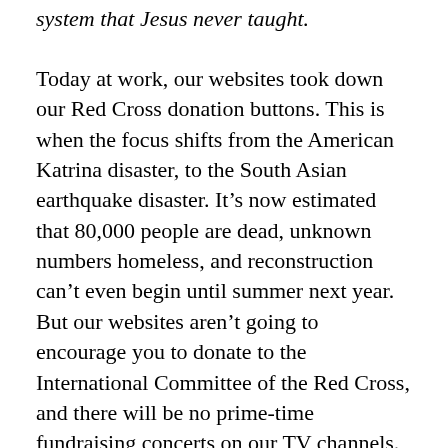system that Jesus never taught.
Today at work, our websites took down our Red Cross donation buttons. This is when the focus shifts from the American Katrina disaster, to the South Asian earthquake disaster. It’s now estimated that 80,000 people are dead, unknown numbers homeless, and reconstruction can’t even begin until summer next year. But our websites aren’t going to encourage you to donate to the International Committee of the Red Cross, and there will be no prime-time fundraising concerts on our TV channels. No matter how much greater the need is. Hey, they’re not Americans, are they?
I think of the media’s justification…